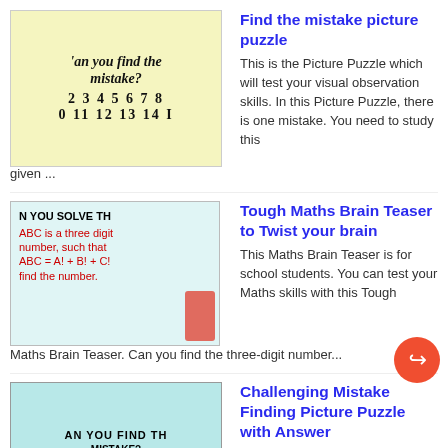[Figure (illustration): Thumbnail image of a puzzle: 'can you find the mistake? 2 3 4 5 6 7 8 / 0 11 12 13 14' on yellow background]
Find the mistake picture puzzle
This is the Picture Puzzle which will test your visual observation skills. In this Picture Puzzle, there is one mistake. You need to study this given ...
[Figure (illustration): Thumbnail image of a maths brain teaser puzzle with text on teal background: 'CAN YOU SOLVE TH... ABC is a three digit number, such that ABC = A! + B! + C! find the number.']
Tough Maths Brain Teaser to Twist your brain
This Maths Brain Teaser is for school students. You can test your Maths skills with this Tough Maths Brain Teaser. Can you find the three-digit number...
[Figure (illustration): Thumbnail image of a puzzle: 'AN YOU FIND TH... MISTAKE? 2 3 4 5 6 7 8 / 0 11 12 13 14 1' on teal/blue background]
Challenging Mistake Finding Picture Puzzle with Answer
This is a very challenging mistake finding picture puzzle which will twist your brain. Solving this brain challenging mistake finding picture puzzle w...
[Figure (illustration): Thumbnail image: 'YOU FIND THE ODD ONE O...' header with grid of emoji faces on yellow background]
Test your Observation with Picture Puzzle
This Odd One Out Picture Puzzle will test your